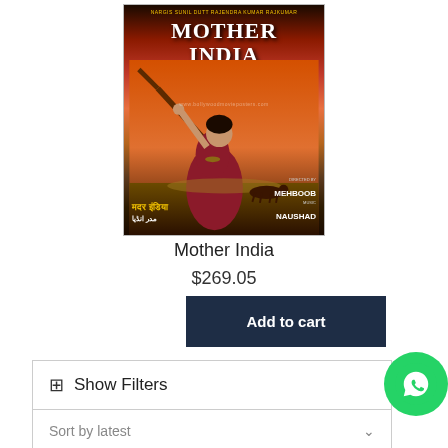[Figure (photo): Movie poster for 'Mother India' (1957 Bollywood film) showing a woman in a dramatic pose with arm raised, wearing a saree, against a sunset sky background. Text shows cast names at top, title 'MOTHER INDIA', 'TECHNICOLOR', Hindi/Urdu text at bottom, directed by Mehboob, music by Naushad.]
Mother India
$269.05
Add to cart
⊞ Show Filters
Sort by latest